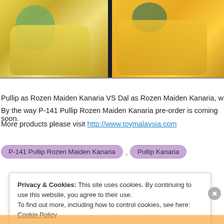[Figure (photo): Two doll figures in yellow/green costumes shown side by side against dark background — Pullip as Rozen Maiden Kanaria (left) and Dal as Rozen Maiden Kanaria (right)]
Pullip as Rozen Maiden Kanaria VS Dal as Rozen Maiden Kanaria, which vers
By the way P-141 Pullip Rozen Maiden Kanaria pre-order is coming soon.
More products please visit http://www.toymalaysia.com
P-141 Pullip Rozen Maiden Kanaria
Pullip Kanaria
Privacy & Cookies: This site uses cookies. By continuing to use this website, you agree to their use. To find out more, including how to control cookies, see here: Cookie Policy
Close and accept